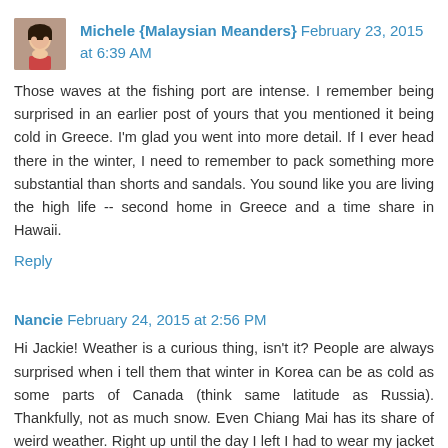[Figure (photo): Small square avatar photo of a woman (Michele), dark hair, Asian appearance]
Michele {Malaysian Meanders} February 23, 2015 at 6:39 AM
Those waves at the fishing port are intense. I remember being surprised in an earlier post of yours that you mentioned it being cold in Greece. I'm glad you went into more detail. If I ever head there in the winter, I need to remember to pack something more substantial than shorts and sandals. You sound like you are living the high life -- second home in Greece and a time share in Hawaii.
Reply
Nancie February 24, 2015 at 2:56 PM
Hi Jackie! Weather is a curious thing, isn't it? People are always surprised when i tell them that winter in Korea can be as cold as some parts of Canada (think same latitude as Russia). Thankfully, not as much snow. Even Chiang Mai has its share of weird weather. Right up until the day I left I had to wear my jacket in the morning when I was in my room, and I never turned the AC on once during my two